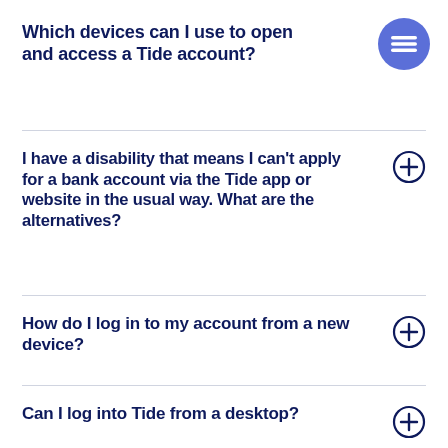Which devices can I use to open and access a Tide account?
I have a disability that means I can't apply for a bank account via the Tide app or website in the usual way. What are the alternatives?
How do I log in to my account from a new device?
Can I log into Tide from a desktop?